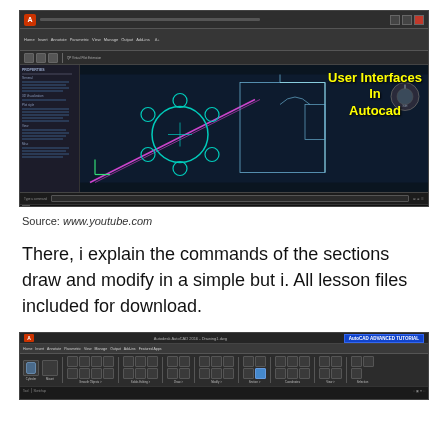[Figure (screenshot): AutoCAD 2016 interface screenshot showing a drawing with a round table and chairs (circle with surrounding smaller circles), diagonal lines in purple/magenta, and architectural line drawing. Yellow bold text overlay reads 'User Interfaces In Autocad'. Dark blue/navy background with sidebar panel on left.]
Source: www.youtube.com
There, i explain the commands of the sections draw and modify in a simple but i. All lesson files included for download.
[Figure (screenshot): AutoCAD Advanced Tutorial screenshot showing AutoCAD ribbon/toolbar interface with blue 'AutoCAD ADVANCED TUTORIAL' badge in top right. Dark grey toolbar with various tool icons visible.]